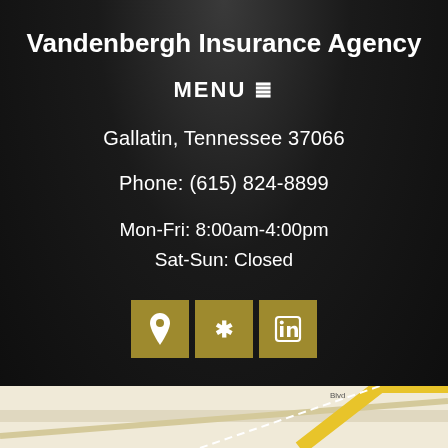Vandenbergh Insurance Agency
MENU ≡
Gallatin, Tennessee 37066
Phone: (615) 824-8899
Mon-Fri: 8:00am-4:00pm
Sat-Sun: Closed
[Figure (infographic): Three gold square social media icon buttons: map pin/location icon, Yelp star icon, and LinkedIn icon]
[Figure (map): Partial street map showing roads, including yellow highlighted road, at the bottom of the page]